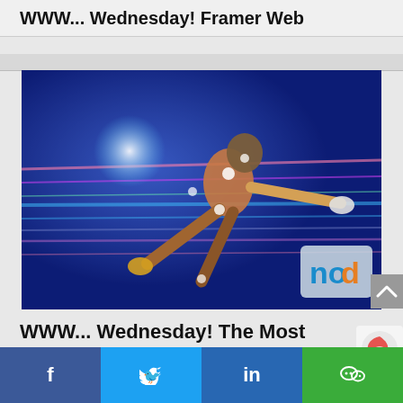WWW... Wednesday! Framer Web
[Figure (photo): A futuristic athletic figure in motion with neon lights and speed streaks on a blue background, with an 'nod' logo watermark in the bottom right corner.]
WWW... Wednesday! The Most Important Metrics for Site Optimization
[Figure (logo): Social media share bar with Facebook, Twitter, LinkedIn, and WeChat icons]